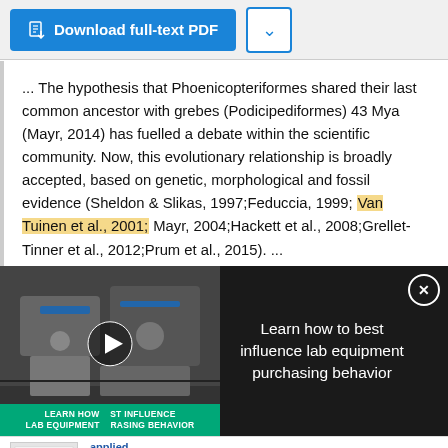[Figure (screenshot): Download full-text PDF button (blue) with dropdown arrow button]
... The hypothesis that Phoenicopteriformes shared their last common ancestor with grebes (Podicipediformes) 43 Mya (Mayr, 2014) has fuelled a debate within the scientific community. Now, this evolutionary relationship is broadly accepted, based on genetic, morphological and fossil evidence (Sheldon & Slikas, 1997;Feduccia, 1999; Van Tuinen et al., 2001; Mayr, 2004;Hackett et al., 2008;Grellet-Tinner et al., 2012;Prum et al., 2015). ...
[Figure (screenshot): Video advertisement overlay: Learn how to best influence lab equipment purchasing behavior, with video thumbnail showing lab equipment]
[Figure (screenshot): Bottom advertisement for Applied Biosystems Real-Time PCR Handbook 2.0 digital experience]